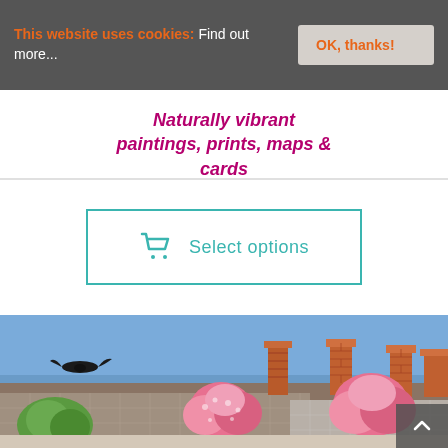This website uses cookies: Find out more...
OK, thanks!
Naturally vibrant paintings, prints, maps & cards
Select options
[Figure (illustration): Watercolour painting of terraced house rooftops with brick chimneys against a blue sky, a flying crow, pink blossom trees and green trees in the foreground.]